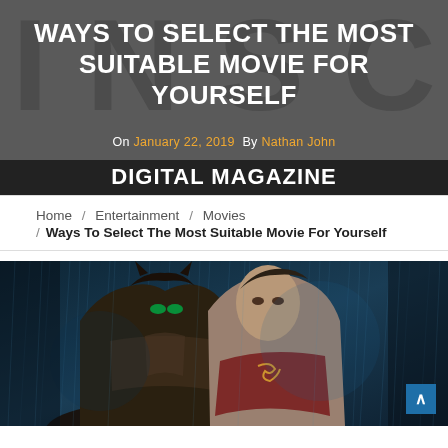[Figure (screenshot): INSC Digital Magazine header banner with large gray 'INSC' letters in background, white bold title text 'WAYS TO SELECT THE MOST SUITABLE MOVIE FOR YOURSELF', byline 'On January 22, 2019 By Nathan John', and black bar at bottom reading 'DIGITAL MAGAZINE']
Home / Entertainment / Movies / Ways To Select The Most Suitable Movie For Yourself
[Figure (photo): Movie still from Batman v Superman: two armored figures facing each other in rain with blue tint lighting]